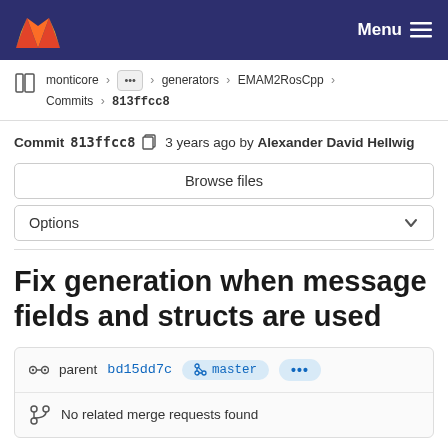GitLab Menu
monticore > ... > generators > EMAM2RosCpp > Commits > 813ffcc8
Commit 813ffcc8 3 years ago by Alexander David Hellwig
Browse files
Options
Fix generation when message fields and structs are used
parent bd15dd7c master ...
No related merge requests found